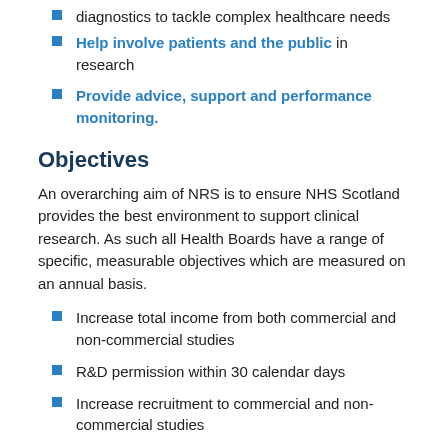diagnostics to tackle complex healthcare needs
Help involve patients and the public in research
Provide advice, support and performance monitoring.
Objectives
An overarching aim of NRS is to ensure NHS Scotland provides the best environment to support clinical research. As such all Health Boards have a range of specific, measurable objectives which are measured on an annual basis.
Increase total income from both commercial and non-commercial studies
R&D permission within 30 calendar days
Increase recruitment to commercial and non-commercial studies
Recruit first commercial study patients within 30 calendar days of gaining NHS permission